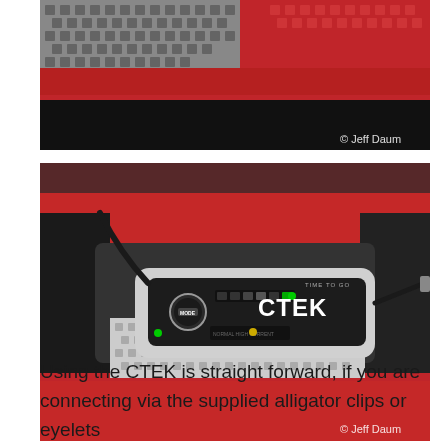[Figure (photo): Close-up photo of a red car surface with a checkered/mesh pattern fabric or material visible, and black car trim. Watermark: © Jeff Daum]
[Figure (photo): Photo of a CTEK battery charger device (black and grey, labeled MODE, CTEK, TIME TO GO) placed on a checkered/mesh fabric inside the front grille area of a red car. A cable runs from the device. Watermark: © Jeff Daum]
Using the CTEK is straight forward, if you are connecting via the supplied alligator clips or eyelets